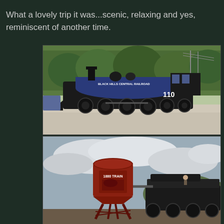What a lovely trip it was...scenic, relaxing and yes, reminiscent of another time.
[Figure (photo): Black Hills Central Railroad steam locomotive number 110, a black engine with blue boiler labeled 'BLACK HILLS CENTRAL RAILROAD', shown on tracks with green trees in background and a road in foreground.]
[Figure (photo): A red water tower labeled '1880 TRAIN' with a steam locomotive number 110 behind it, set against a cloudy sky with hills in background.]